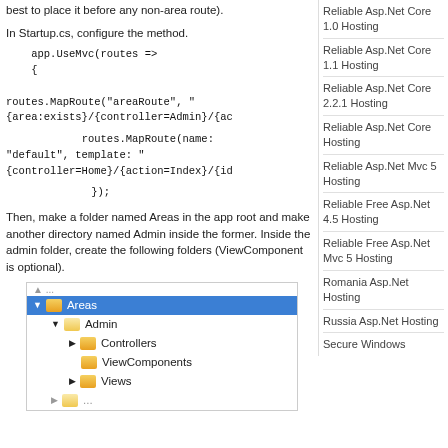best to place it before any non-area route).
In Startup.cs, configure the method.
app.UseMvc(routes =>
    {

routes.MapRoute("areaRoute", "{area:exists}/{controller=Admin}/{ac

        routes.MapRoute(name: "default", template: "{controller=Home}/{action=Index}/{id

    });
Then, make a folder named Areas in the app root and make another directory named Admin inside the former. Inside the admin folder, create the following folders (ViewComponent is optional).
[Figure (screenshot): File explorer tree showing Areas folder selected (highlighted blue), with Admin subfolder containing Controllers, ViewComponents, and Views subfolders]
Reliable Asp.Net Core 1.0 Hosting
Reliable Asp.Net Core 1.1 Hosting
Reliable Asp.Net Core 2.2.1 Hosting
Reliable Asp.Net Core Hosting
Reliable Asp.Net Mvc 5 Hosting
Reliable Free Asp.Net 4.5 Hosting
Reliable Free Asp.Net Mvc 5 Hosting
Romania Asp.Net Hosting
Russia Asp.Net Hosting
Secure Windows